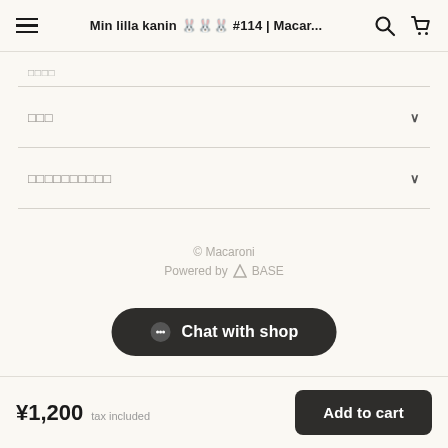Min lilla kanin 🐰🐰🐰 #114 | Macar...
□□□□
□□□
□□□□□□□□□□
© Macaroni
Powered by △BASE
💬 Chat with shop
¥1,200 tax included  Add to cart